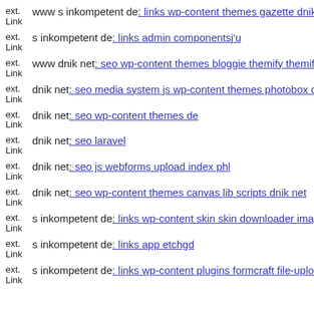ext. Link  www s inkompetent de: links wp-content themes gazette dnik n
ext. Link  s inkompetent de: links admin componentsj'u
ext. Link  www dnik net: seo wp-content themes bloggie themify themify
ext. Link  dnik net: seo media system js wp-content themes photobox dni
ext. Link  dnik net: seo wp-content themes de
ext. Link  dnik net: seo laravel
ext. Link  dnik net: seo js webforms upload index phl
ext. Link  dnik net: seo wp-content themes canvas lib scripts dnik net
ext. Link  s inkompetent de: links wp-content skin skin downloader imag
ext. Link  s inkompetent de: links app etchgd
ext. Link  s inkompetent de: links wp-content plugins formcraft file-uploa